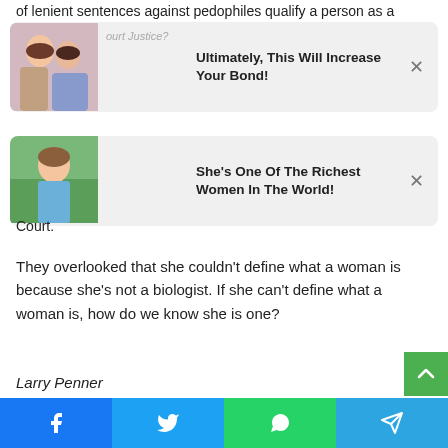of lenient sentences against pedophiles qualify a person as a
[Figure (infographic): Ad card with two women photo and text: Ultimately, This Will Increase Your Bond!]
[Figure (infographic): Ad card with woman in blue dress photo and text: She's One Of The Richest Women In The World!]
rejoiced in Jackson's confirmation by the Supreme Court.
They overlooked that she couldn't define what a woman is because she's not a biologist. If she can't define what a woman is, how do we know she is one?
Larry Penner
[Figure (other): Social share bar with Facebook, Twitter, WhatsApp, Telegram buttons]